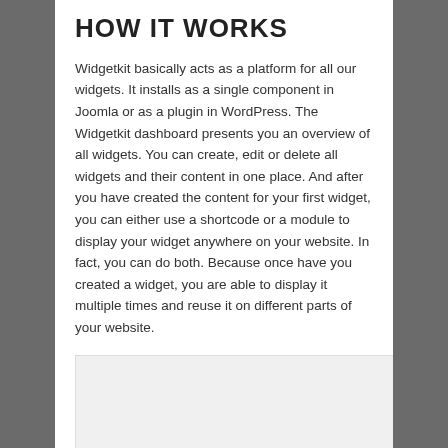HOW IT WORKS
Widgetkit basically acts as a platform for all our widgets. It installs as a single component in Joomla or as a plugin in WordPress. The Widgetkit dashboard presents you an overview of all widgets. You can create, edit or delete all widgets and their content in one place. And after you have created the content for your first widget, you can either use a shortcode or a module to display your widget anywhere on your website. In fact, you can do both. Because once have you created a widget, you are able to display it multiple times and reuse it on different parts of your website.
[Figure (other): Empty light gray box/placeholder area below the text content]